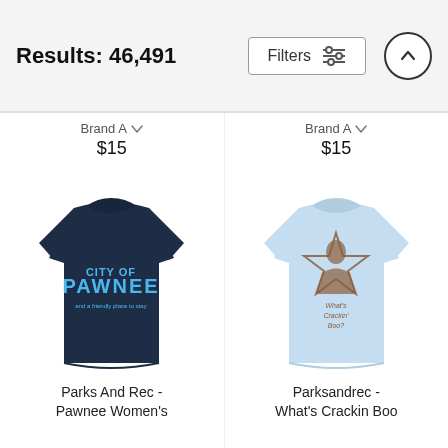Results: 46,491
Filters
[Figure (photo): Navy blue women's t-shirt with 'City of Pawnee' text graphic in blue lettering]
Brand A  $15  Parks And Rec - Pawnee Women's
[Figure (photo): Light blue women's t-shirt with Parks and Rec 'What's Crackin Boo' star graphic in brown]
Brand A  $15  Parksandrec - What's Crackin Boo